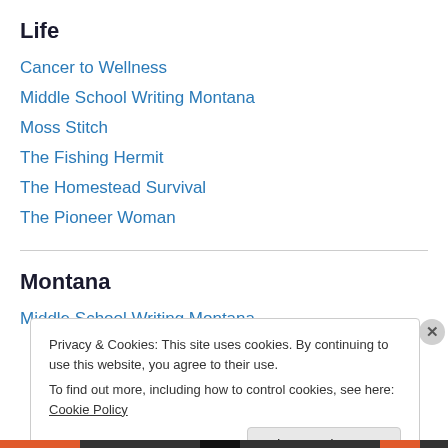Life
Cancer to Wellness
Middle School Writing Montana
Moss Stitch
The Fishing Hermit
The Homestead Survival
The Pioneer Woman
Montana
Middle School Writing Montana
Privacy & Cookies: This site uses cookies. By continuing to use this website, you agree to their use.
To find out more, including how to control cookies, see here: Cookie Policy
Close and accept